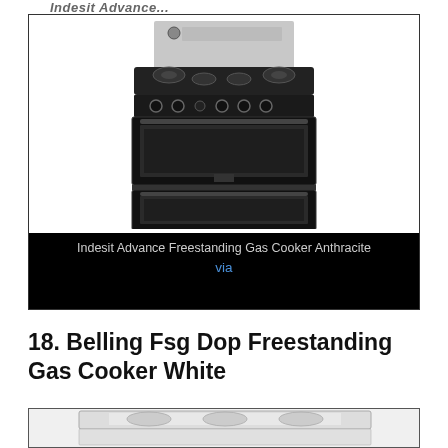Indesit Advance...
[Figure (photo): Indesit Advance Freestanding Gas Cooker in Anthracite color, showing a double oven with gas hob and stainless steel back panel]
Indesit Advance Freestanding Gas Cooker Anthracite
via
18. Belling Fsg Dop Freestanding Gas Cooker White
[Figure (photo): Belling Fsg Dop Freestanding Gas Cooker in White color, partially visible at bottom of page]